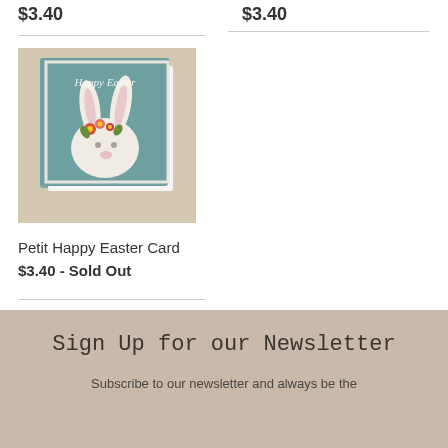$3.40
$3.40
[Figure (photo): A greeting card featuring a white bunny with a flower crown on a teal/blue background, with 'Happy Easter' written in script. The card is placed on a linen-textured surface.]
Petit Happy Easter Card
$3.40 - Sold Out
Sign Up for our Newsletter
Subscribe to our newsletter and always be the